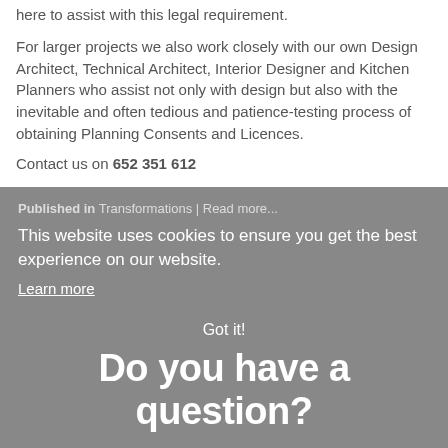serious legal and financial consequences for non-compliance. We are here to assist with this legal requirement.
For larger projects we also work closely with our own Design Architect, Technical Architect, Interior Designer and Kitchen Planners who assist not only with design but also with the inevitable and often tedious and patience-testing process of obtaining Planning Consents and Licences.
Contact us on 652 351 612
Published in Transformations | Read more...
This website uses cookies to ensure you get the best experience on our website.
Learn more
Got it!
Do you have a question?